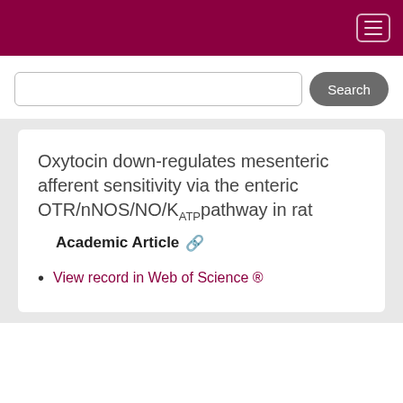Oxytocin down-regulates mesenteric afferent sensitivity via the enteric OTR/nNOS/NO/KATP pathway in rat
Academic Article
View record in Web of Science ®